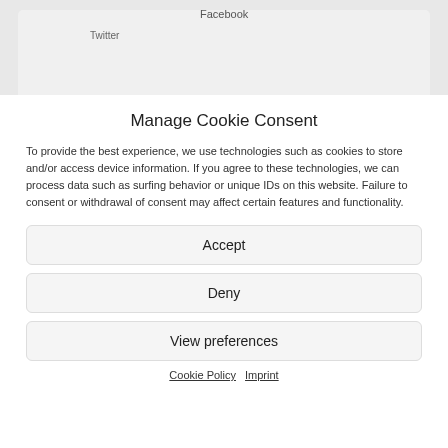[Figure (screenshot): Partial screenshot of a webpage showing social media icons/labels including Facebook and Twitter on a light grey background]
Manage Cookie Consent
To provide the best experience, we use technologies such as cookies to store and/or access device information. If you agree to these technologies, we can process data such as surfing behavior or unique IDs on this website. Failure to consent or withdrawal of consent may affect certain features and functionality.
Accept
Deny
View preferences
Cookie Policy   Imprint